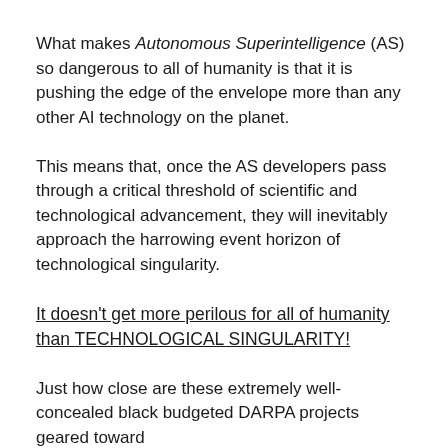What makes Autonomous Superintelligence (AS) so dangerous to all of humanity is that it is pushing the edge of the envelope more than any other AI technology on the planet.
This means that, once the AS developers pass through a critical threshold of scientific and technological advancement, they will inevitably approach the harrowing event horizon of technological singularity.
It doesn't get more perilous for all of humanity than TECHNOLOGICAL SINGULARITY!
Just how close are these extremely well-concealed black budgeted DARPA projects geared toward